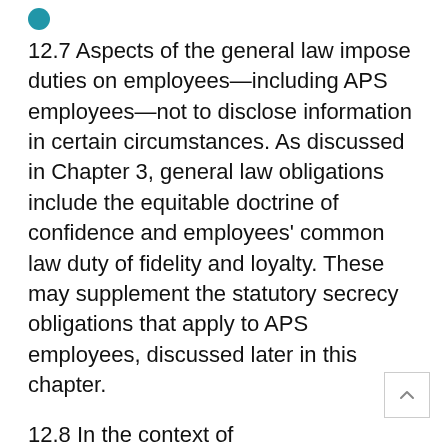[Figure (other): Teal/blue circular icon or bullet point at top left]
12.7 Aspects of the general law impose duties on employees—including APS employees—not to disclose information in certain circumstances. As discussed in Chapter 3, general law obligations include the equitable doctrine of confidence and employees' common law duty of fidelity and loyalty. These may supplement the statutory secrecy obligations that apply to APS employees, discussed later in this chapter.
12.8 In the context of...